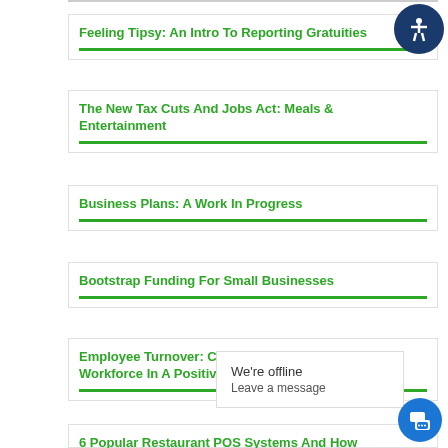Feeling Tipsy: An Intro To Reporting Gratuities
The New Tax Cuts And Jobs Act: Meals & Entertainment
Business Plans: A Work In Progress
Bootstrap Funding For Small Businesses
Employee Turnover: Create A Happy, Loyal Workforce In A Positive Work Environment
6 Popular Restaurant POS Systems And How